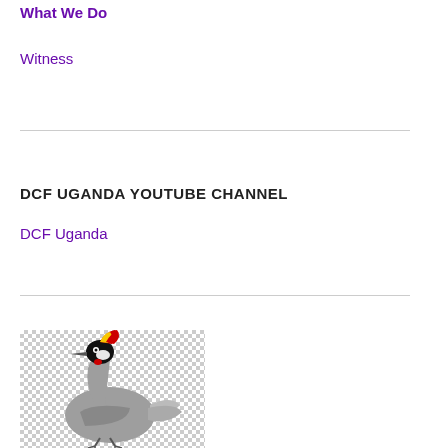What We Do
Witness
DCF UGANDA YOUTUBE CHANNEL
DCF Uganda
[Figure (illustration): A grey crowned crane bird illustration on a checkered (transparent) background, showing the bird's distinctive red, yellow, and black crest, grey body, black head, and long neck.]